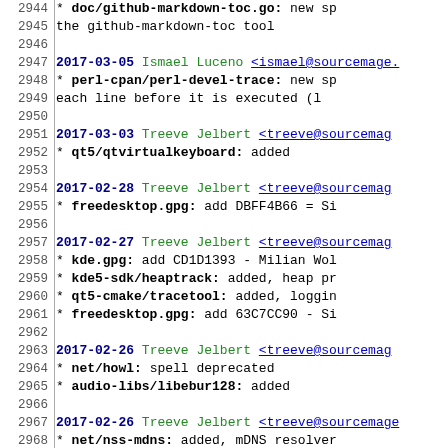2944     * doc/github-markdown-toc.go: new sp
2945           the github-markdown-toc tool
2946
2947  2017-03-05 Ismael Luceno <ismael@sourcemage.
2948           * perl-cpan/perl-devel-trace: new sp
2949           each line before it is executed (l
2950
2951  2017-03-03  Treeve Jelbert <treeve@sourcemag
2952           * qt5/qtvirtualkeyboard: added
2953
2954  2017-02-28  Treeve Jelbert <treeve@sourcemag
2955           * freedesktop.gpg: add DBFF4B66 = Si
2956
2957  2017-02-27  Treeve Jelbert <treeve@sourcemag
2958           * kde.gpg: add CD1D1393 - Milian Wol
2959           * kde5-sdk/heaptrack: added, heap pr
2960           * qt5-cmake/tracetool: added, loggin
2961           * freedesktop.gpg: add 63C7CC90 - Si
2962
2963  2017-02-26  Treeve Jelbert <treeve@sourcemag
2964           * net/howl: spell deprecated
2965           * audio-libs/libebur128: added
2966
2967  2017-02-26  Treeve Jelbert <treeve@sourcemage
2968           * net/nss-mdns: added, mDNS resolver
2969
2970  2017-02-25  Vlad Glagolev <stealth@sourcemage
2971           * utils/ncmatrix: new spell, CMatrix
2972
2973  2017-02-24  Treeve  Jelbert <treeve@sourcemag